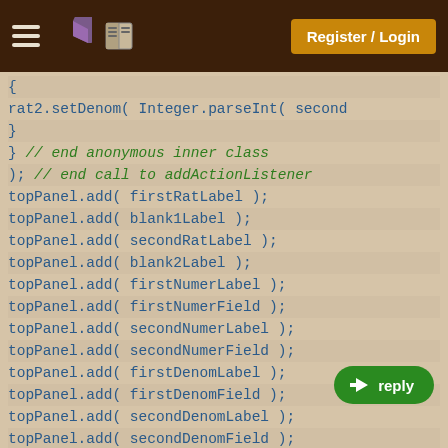Register / Login
[Figure (screenshot): Java source code snippet showing anonymous inner class closing braces, topPanel.add() calls, and addButton creation with ActionListener]
reply button overlay